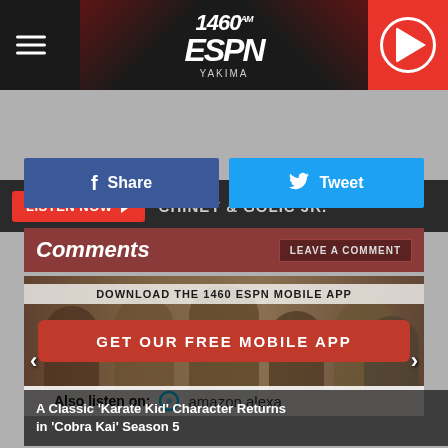1460 ESPN Yakima — Header with hamburger menu, logo, and play button
LISTEN NOW ▶  CHINEY & GOLIC JR.
Share   Tweet
Comments   LEAVE A COMMENT
[Figure (infographic): App download promotional banner with red 'GET OUR FREE MOBILE APP' button over a dark background with people figures, 'Also listen on: amazon alexa' footer. Download The 1460 ESPN Mobile App.]
A Classic 'Karate Kid' Character Returns in 'Cobra Kai' Season 5